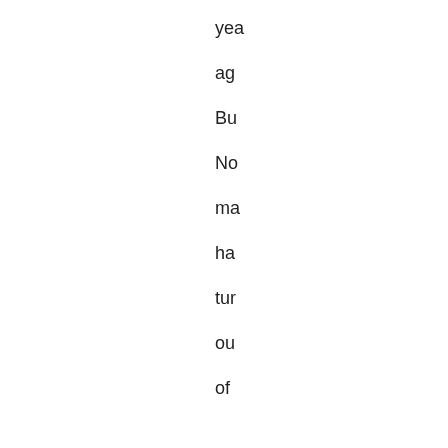yea
ag
Bu
No
ma
ha
tur
ou
of
the
To
10
sm
ma
alt
like
Mc